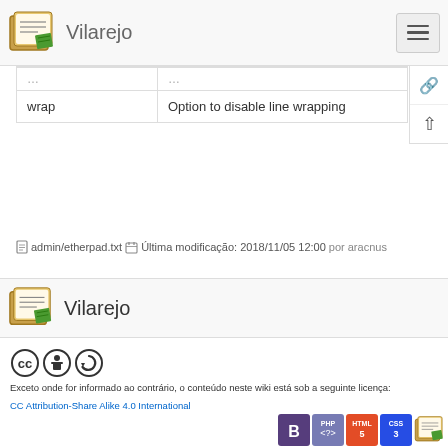Vilarejo
| wrap | Option to disable line wrapping |
admin/etherpad.txt  Última modificação: 2018/11/05 12:00  por aracnus
Vilarejo
Exceto onde for informado ao contrário, o conteúdo neste wiki está sob a seguinte licença:
CC Attribution-Share Alike 4.0 International